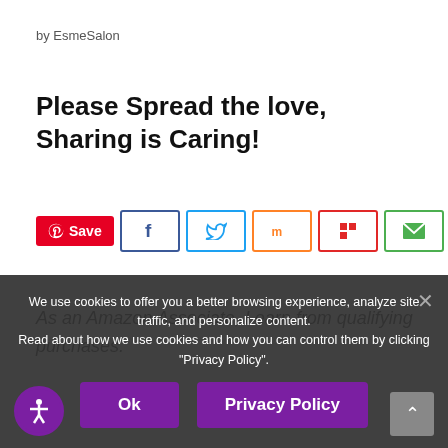by EsmeSalon
Please Spread the love, Sharing is Caring!
[Figure (infographic): Social share buttons: Pinterest Save, Facebook, Twitter, Mix, Flipboard, Email]
As an Amazon Associate, I earn from qualifying purchases.
We use cookies to offer you a better browsing experience, analyze site traffic, and personalize content. Read about how we use cookies and how you can control them by clicking "Privacy Policy".
Ok
Privacy Policy